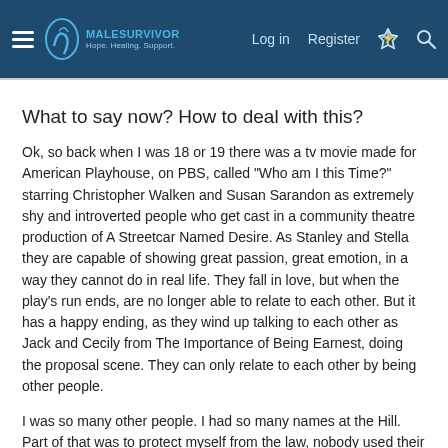MaleSurvivor — Hope. Healing. Support. | Log in | Register
What to say now? How to deal with this?
Ok, so back when I was 18 or 19 there was a tv movie made for American Playhouse, on PBS, called “Who am I this Time?” starring Christopher Walken and Susan Sarandon as extremely shy and introverted people who get cast in a community theatre production of A Streetcar Named Desire. As Stanley and Stella they are capable of showing great passion, great emotion, in a way they cannot do in real life. They fall in love, but when the play's run ends, are no longer able to relate to each other. But it has a happy ending, as they wind up talking to each other as Jack and Cecily from The Importance of Being Earnest, doing the proposal scene. They can only relate to each other by being other people.
I was so many other people. I had so many names at the Hill. Part of that was to protect myself from the law, nobody used their real names, but it was more than that. I had a cast of